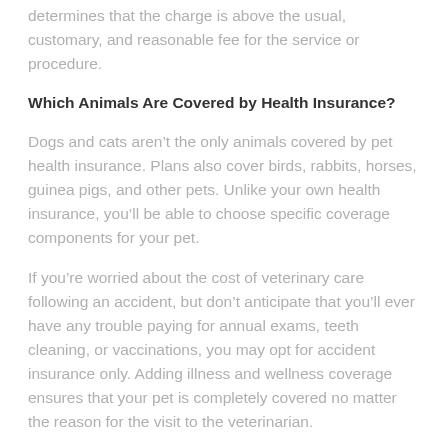determines that the charge is above the usual, customary, and reasonable fee for the service or procedure.
Which Animals Are Covered by Health Insurance?
Dogs and cats aren't the only animals covered by pet health insurance. Plans also cover birds, rabbits, horses, guinea pigs, and other pets. Unlike your own health insurance, you'll be able to choose specific coverage components for your pet.
If you're worried about the cost of veterinary care following an accident, but don't anticipate that you'll ever have any trouble paying for annual exams, teeth cleaning, or vaccinations, you may opt for accident insurance only. Adding illness and wellness coverage ensures that your pet is completely covered no matter the reason for the visit to the veterinarian.